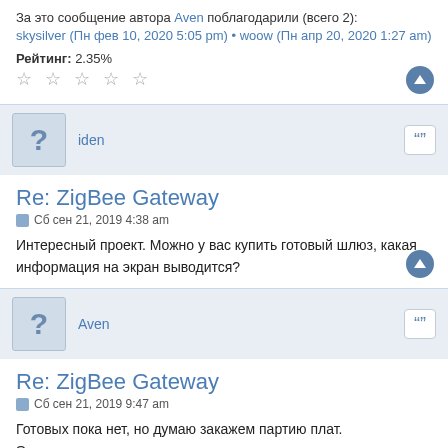За это сообщение автора Aven поблагодарили (всего 2): skysilver (Пн фев 10, 2020 5:05 pm) • woow (Пн апр 20, 2020 1:27 am)
Рейтинг: 2.35%
iden
Re: ZigBee Gateway
Сб сен 21, 2019 4:38 am
Интересный проект. Можно у вас купить готовый шлюз, какая информация на экран выводится?
Aven
Re: ZigBee Gateway
Сб сен 21, 2019 9:47 am
Готовых пока нет, но думаю закажем партию плат.
Экран тут не используется, можно спаять вот так например
[Figure (photo): Photo of a wooden surface or board]